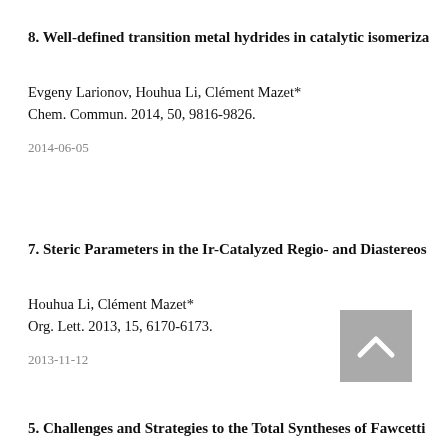8. Well-defined transition metal hydrides in catalytic isomeriza…
Evgeny Larionov, Houhua Li, Clément Mazet*
Chem. Commun. 2014, 50, 9816-9826.
2014-06-05
7. Steric Parameters in the Ir-Catalyzed Regio- and Diastereos…
Houhua Li, Clément Mazet*
Org. Lett. 2013, 15, 6170-6173.
2013-11-12
[Figure (other): Back-to-top button: grey square with upward chevron arrow]
5. Challenges and Strategies to the Total Syntheses of Fawcetti…